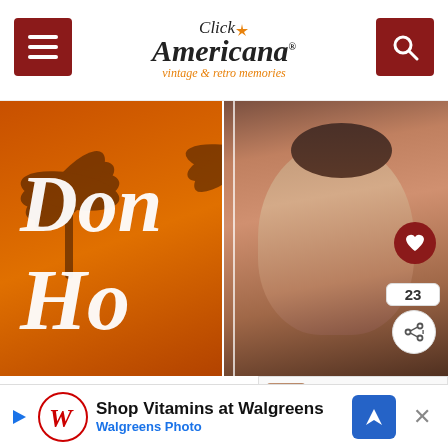Click Americana — vintage & retro memories
[Figure (photo): Don Ho album cover with stylized text 'Don Ho' over orange tropical background with palm trees, split with a photo of Don Ho smiling]
Don Ho: Why the 'Tiny Bubbles' singer was one of Hawaii's first superstars in the '60s
WHAT'S NEXT → About the '70s Betty White....
CATEGORIES: 1960S, 1970S, VINTAGE & RETRO ENTERTAINMENT,
[Figure (infographic): Walgreens advertisement: Shop Vitamins at Walgreens — Walgreens Photo]